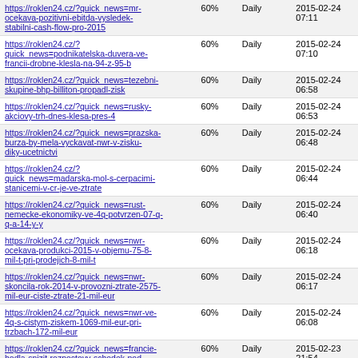| https://roklen24.cz/?quick_news=mr-ocekava-pozitivni-ebitda-vysledek-stabilni-cash-flow-pro-2015 | 60% | Daily | 2015-02-24 07:11 |
| https://roklen24.cz/?quick_news=podnikatelska-duvera-ve-francii-drobne-klesla-na-94-z-95-b | 60% | Daily | 2015-02-24 07:10 |
| https://roklen24.cz/?quick_news=tezebni-skupine-bhp-billiton-propadl-zisk | 60% | Daily | 2015-02-24 06:58 |
| https://roklen24.cz/?quick_news=rusky-akciovy-trh-dnes-klesa-pres-4 | 60% | Daily | 2015-02-24 06:53 |
| https://roklen24.cz/?quick_news=prazska-burza-by-mela-vyckavat-nwr-v-zisku-diky-ucetnictvi | 60% | Daily | 2015-02-24 06:48 |
| https://roklen24.cz/?quick_news=madarska-mol-s-cerpacimi-stanicemi-v-cr-je-ve-ztrate | 60% | Daily | 2015-02-24 06:44 |
| https://roklen24.cz/?quick_news=rust-nemecke-ekonomiky-ve-4q-potvrzen-07-q-q-a-14-y-y | 60% | Daily | 2015-02-24 06:40 |
| https://roklen24.cz/?quick_news=nwr-ocekava-produkci-2015-v-objemu-75-8-mil-t-pri-prodejich-8-mil-t | 60% | Daily | 2015-02-24 06:18 |
| https://roklen24.cz/?quick_news=nwr-skoncila-rok-2014-v-provozni-ztrate-2575-mil-eur-ciste-ztrate-21-mil-eur | 60% | Daily | 2015-02-24 06:17 |
| https://roklen24.cz/?quick_news=nwr-ve-4q-s-cistym-ziskem-1069-mil-eur-pri-trzbach-172-mil-eur | 60% | Daily | 2015-02-24 06:08 |
| https://roklen24.cz/?quick_news=francie-hodla-snizit-rozpoctovy-schodek-pod-limit-eu-az-v-roce-2018 | 60% | Daily | 2015-02-23 21:54 |
| https://roklen24.cz/?quick_news=mmf-schvalil-trilety-uverovy-program-pro-srbsko-v-hodnote-12-miliardy-eur | 60% | Daily | 2015-02-23 21:08 |